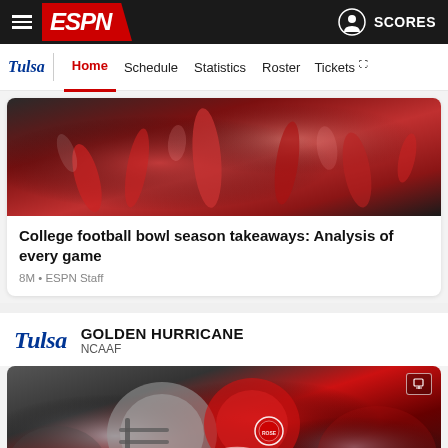ESPN — SCORES
Tulsa | Home | Schedule | Statistics | Roster | Tickets
[Figure (photo): Crowd of celebrating football fans in red jerseys raising hands]
College football bowl season takeaways: Analysis of every game
8M • ESPN Staff
GOLDEN HURRICANE
NCAAF
[Figure (photo): Two football players in helmet collision, Rose Bowl patch visible on jersey, one in red uniform and one in white]